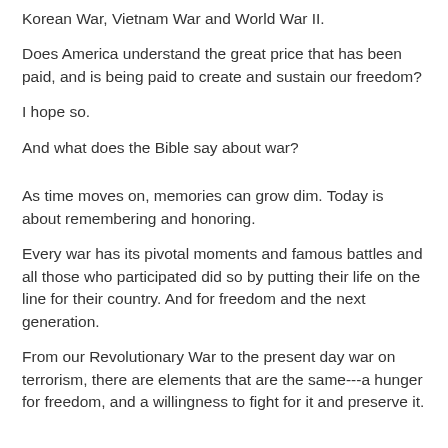Korean War, Vietnam War and World War II.
Does America understand the great price that has been paid, and is being paid to create and sustain our freedom?
I hope so.
And what does the Bible say about war?
As time moves on, memories can grow dim. Today is about remembering and honoring.
Every war has its pivotal moments and famous battles and all those who participated did so by putting their life on the line for their country. And for freedom and the next generation.
From our Revolutionary War to the present day war on terrorism, there are elements that are the same---a hunger for freedom, and a willingness to fight for it and preserve it.